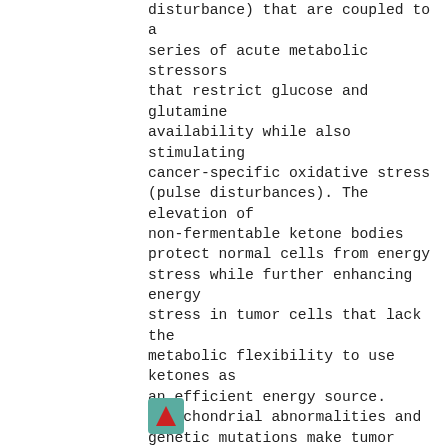disturbance) that are coupled to a series of acute metabolic stressors that restrict glucose and glutamine availability while also stimulating cancer-specific oxidative stress (pulse disturbances). The elevation of non-fermentable ketone bodies protect normal cells from energy stress while further enhancing energy stress in tumor cells that lack the metabolic flexibility to use ketones as an efficient energy source. Mitochondrial abnormalities and genetic mutations make tumor cells vulnerable metabolic stress. Results: The press-pulse therapeutic strategy for cancer management is illustrated with calorie restricted ketogenic diets (KD-R) used together with drugs and procedures that create both chronic and intermittent acute stress on tumor cell energy metabolism, while protecting and enhancing the energy metabolism of normal cells. Conclusions: Optimization of dosing, timing, and scheduling of the press-
[Figure (other): Small teal/green square icon with a red upward-pointing triangle (play/arrow symbol) inside it]